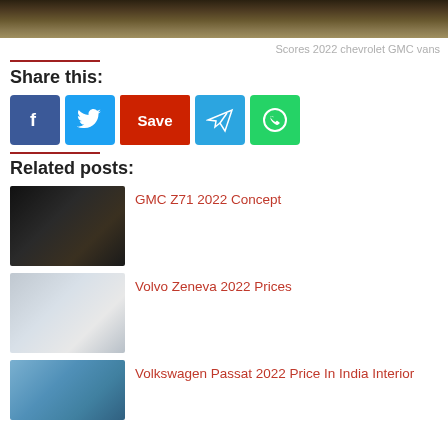[Figure (photo): Top partial image of a dark earthy outdoor scene]
Scores 2022 chevrolet GMC vans
Share this:
[Figure (infographic): Social share buttons: Facebook, Twitter, Save (Pinterest), Telegram, WhatsApp]
Related posts:
GMC Z71 2022 Concept
Volvo Zeneva 2022 Prices
Volkswagen Passat 2022 Price In India Interior